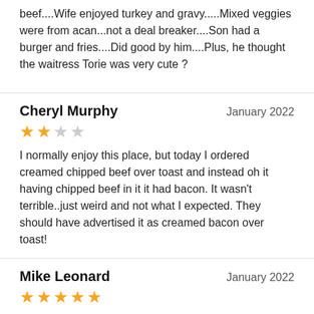beef....Wife enjoyed turkey and gravy.....Mixed veggies were from acan...not a deal breaker....Son had a burger and fries....Did good by him....Plus, he thought the waitress Torie was very cute ?
Cheryl Murphy — January 2022 — 2 stars — I normally enjoy this place, but today I ordered creamed chipped beef over toast and instead oh it having chipped beef in it it had bacon. It wasn't terrible..just weird and not what I expected. They should have advertised it as creamed bacon over toast!
Mike Leonard — January 2022 — 5 stars — Go here often and always have a good meal. Good food, made right and fast service.
Deborah Cantler — January 2022 — 5 stars — I would like to give a shout out to The Cambridge Diner in Cambridge MD. Buck & I have been stoppin others on our way...